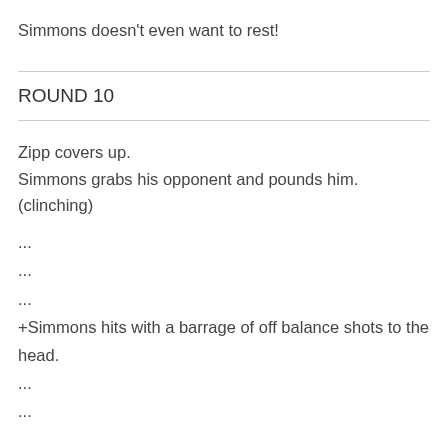Simmons doesn't even want to rest!
ROUND 10
Zipp covers up.
Simmons grabs his opponent and pounds him. (clinching)
...
...
...
+Simmons hits with a barrage of off balance shots to the head.
...
...